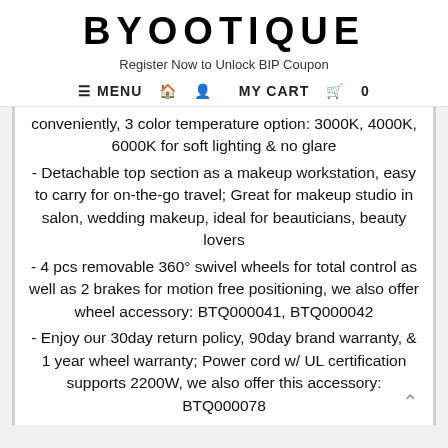BYOOTIQUE
Register Now to Unlock BIP Coupon
≡ MENU  🏠  👤  MY CART  🛒  0
conveniently, 3 color temperature option: 3000K, 4000K, 6000K for soft lighting & no glare
- Detachable top section as a makeup workstation, easy to carry for on-the-go travel; Great for makeup studio in salon, wedding makeup, ideal for beauticians, beauty lovers
- 4 pcs removable 360° swivel wheels for total control as well as 2 brakes for motion free positioning, we also offer wheel accessory: BTQ000041, BTQ000042
- Enjoy our 30day return policy, 90day brand warranty, & 1 year wheel warranty; Power cord w/ UL certification supports 2200W, we also offer this accessory: BTQ000078